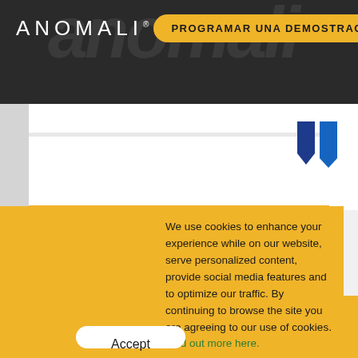[Figure (logo): Anomali logo and PROGRAMAR UNA DEMOSTRACIÓN button on dark header bar with faint italic watermark text]
[Figure (screenshot): White content area with orange divider line, blue arrow/badge shapes in top right, green swoosh logo in bottom left, grey left sidebar]
We use cookies to enhance your experience while on our website, serve personalized content, provide social media features and to optimize our traffic. By continuing to browse the site you are agreeing to our use of cookies. Find out more here.
[Figure (other): Accept button (white rounded pill button) on yellow/gold cookie consent banner]